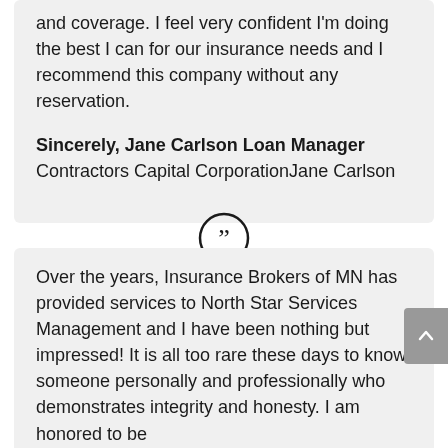and coverage. I feel very confident I'm doing the best I can for our insurance needs and I recommend this company without any reservation.
Sincerely, Jane Carlson Loan Manager
Contractors Capital CorporationJane Carlson
[Figure (illustration): Closing double quotation mark icon inside a circle]
Over the years, Insurance Brokers of MN has provided services to North Star Services Management and I have been nothing but impressed! It is all too rare these days to know someone personally and professionally who demonstrates integrity and honesty. I am honored to be